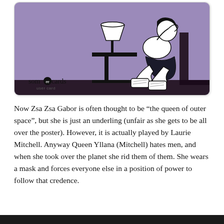[Figure (illustration): A someecards 'user card' illustration on a purple/lavender background showing a line-art woman sitting on a bed with her knees pulled up and hand on her face, with a side table and lamp in the background. The someecards logo with 'user card' text is in the lower-left of the card.]
Now Zsa Zsa Gabor is often thought to be “the queen of outer space”, but she is just an underling (unfair as she gets to be all over the poster). However, it is actually played by Laurie Mitchell. Anyway Queen Yllana (Mitchell) hates men, and when she took over the planet she rid them of them. She wears a mask and forces everyone else in a position of power to follow that credence.
[Figure (photo): A dark horizontal strip at the bottom of the page, appearing to be the top of a photo or screenshot.]